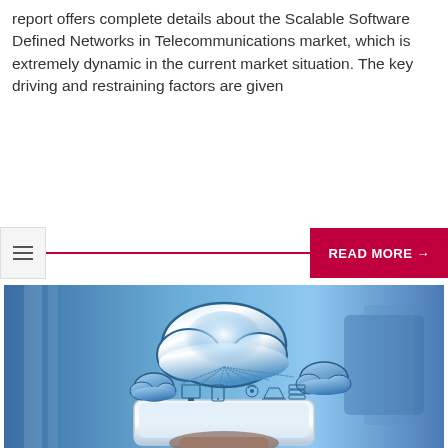report offers complete details about the Scalable Software Defined Networks in Telecommunications market, which is extremely dynamic in the current market situation. The key driving and restraining factors are given
[Figure (other): Navigation bar with hamburger menu icon on left, dark red horizontal line, and READ MORE → button on right]
[Figure (photo): A hand holding a tablet with a cloud computing graphic floating above it — large blue cloud icon at top connected by lines to various device icons (monitors, tablets, routers, smaller clouds), blue-toned blurry office background]